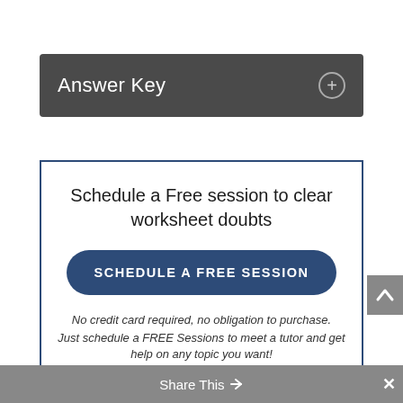Answer Key
Schedule a Free session to clear worksheet doubts
SCHEDULE A FREE SESSION
No credit card required, no obligation to purchase. Just schedule a FREE Sessions to meet a tutor and get help on any topic you want!
Share This